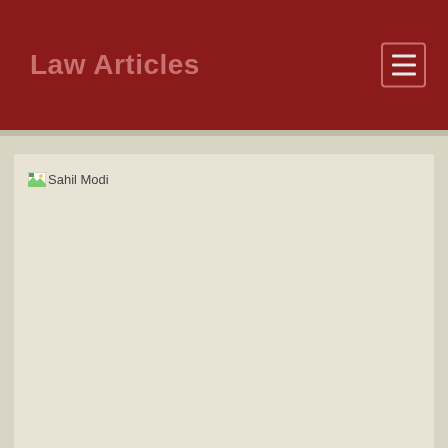Law Articles
[Figure (photo): Broken image placeholder labeled 'Sahil Modi']